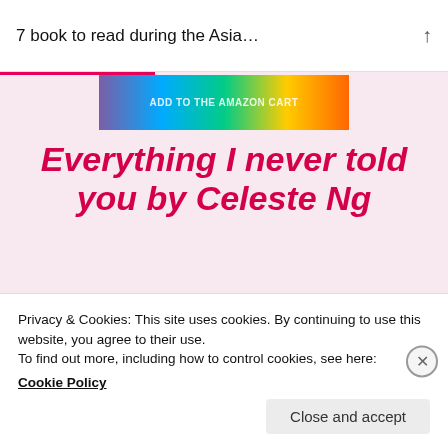7 book to read during the Asia…
[Figure (illustration): Colorful gradient banner with text 'ADD TO THE AMAZON CART']
Everything I never told you by Celeste Ng
[Figure (photo): Book cover of 'Everything I Never Told You' by Celeste Ng, dark background with white script title and quote from O, the Oprah Magazine]
Privacy & Cookies: This site uses cookies. By continuing to use this website, you agree to their use. To find out more, including how to control cookies, see here:
Cookie Policy
Close and accept